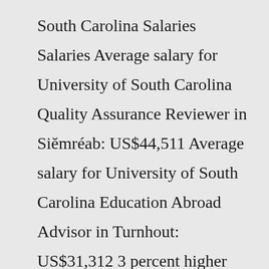South Carolina Salaries Salaries Average salary for University of South Carolina Quality Assurance Reviewer in Siĕmréab: US$44,511 Average salary for University of South Carolina Education Abroad Advisor in Turnhout: US$31,312 3 percent higher than the national average for government employees and 33 S Explore University of South Carolina salaries by top job title or location Average annual salary was $94,824